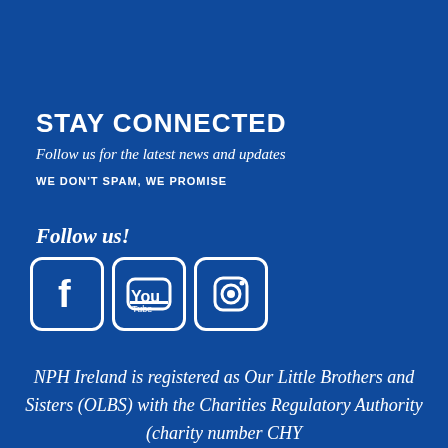STAY CONNECTED
Follow us for the latest news and updates
WE DON'T SPAM, WE PROMISE
Follow us!
[Figure (other): Social media icons: Facebook, YouTube, Instagram (rounded square buttons with white borders on blue background)]
NPH Ireland is registered as Our Little Brothers and Sisters (OLBS) with the Charities Regulatory Authority (charity number CHY